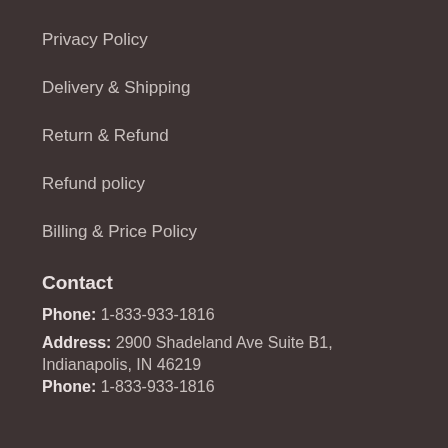Privacy Policy
Delivery & Shipping
Return & Refund
Refund policy
Billing & Price Policy
Contact
Phone: 1-833-933-1816
Address: 2900 Shadeland Ave Suite B1, Indianapolis, IN 46219
Phone: 1-833-933-1816